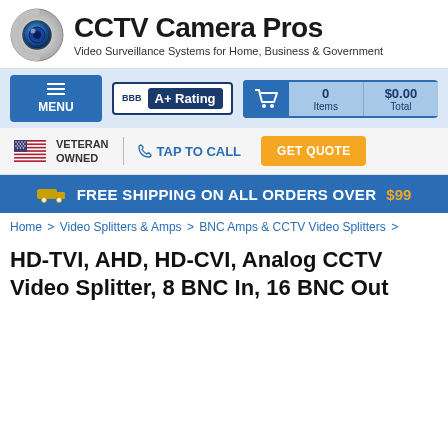[Figure (logo): CCTV Camera Pros logo with camera lens icon and text 'CCTV Camera Pros' and subtitle 'Video Surveillance Systems for Home, Business & Government']
[Figure (screenshot): Navigation bar with MENU button, BBB A+ Rating badge, and shopping cart showing 0 items $0.00 total]
[Figure (infographic): Veteran Owned badge with US flag, TAP TO CALL link, and GET QUOTE button]
FREE SHIPPING ON ALL ORDERS OVER $99
Home > Video Splitters & Amps > BNC Amps & CCTV Video Splitters >
HD-TVI, AHD, HD-CVI, Analog CCTV Video Splitter, 8 BNC In, 16 BNC Out